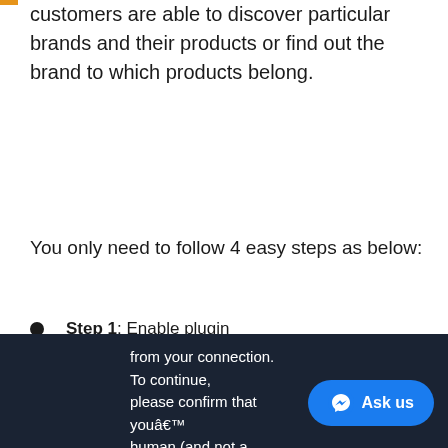customers are able to discover particular brands and their products or find out the brand to which products belong.
You only need to follow 4 easy steps as below:
Step 1: Enable plugin
Step 2: Add a new Brand
Step 3: Add Widgets
Step 4: View product
[Figure (screenshot): Dark navy banner at bottom of page showing partial text 'from your connection. To continue, please confirm that youâ€™re human (and not a spambo...' with a blue 'Ask us' messenger chat button overlay on the right.]